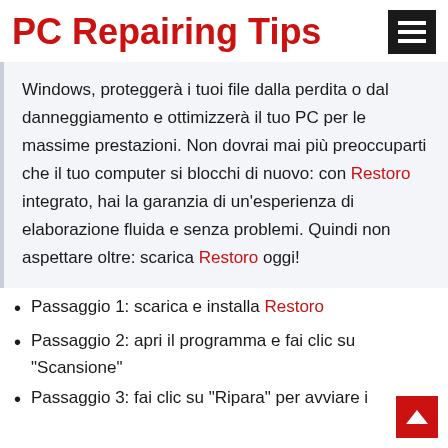PC Repairing Tips
Windows, proteggerà i tuoi file dalla perdita o dal danneggiamento e ottimizzerà il tuo PC per le massime prestazioni. Non dovrai mai più preoccuparti che il tuo computer si blocchi di nuovo: con Restoro integrato, hai la garanzia di un'esperienza di elaborazione fluida e senza problemi. Quindi non aspettare oltre: scarica Restoro oggi!
Passaggio 1: scarica e installa Restoro
Passaggio 2: apri il programma e fai clic su "Scansione"
Passaggio 3: fai clic su "Ripara" per avviare i